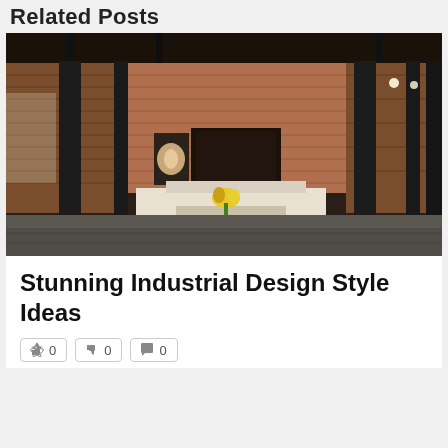Related Posts
[Figure (photo): Industrial loft interior with exposed brick walls, dark steel columns, concrete floor, white sofas, yellow flowers on coffee table, paintings on wall, and ambient lighting.]
Stunning Industrial Design Style Ideas
👍 0   👎 0   💬 0